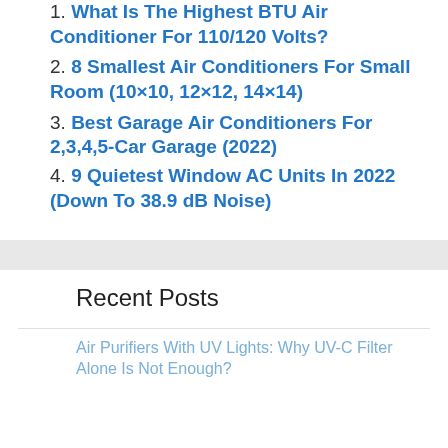What Is The Highest BTU Air Conditioner For 110/120 Volts?
8 Smallest Air Conditioners For Small Room (10×10, 12×12, 14×14)
Best Garage Air Conditioners For 2,3,4,5-Car Garage (2022)
9 Quietest Window AC Units In 2022 (Down To 38.9 dB Noise)
Recent Posts
Air Purifiers With UV Lights: Why UV-C Filter Alone Is Not Enough?